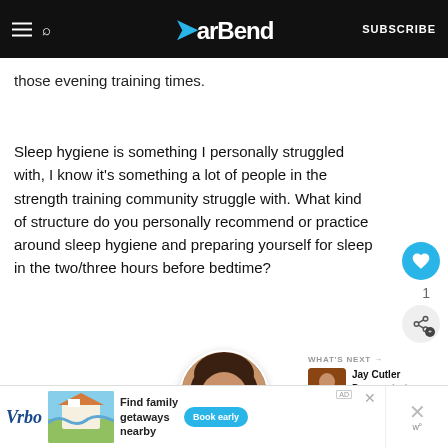BarBend — SUBSCRIBE
those evening training times.
Sleep hygiene is something I personally struggled with, I know it's something a lot of people in the strength training community struggle with. What kind of structure do you personally recommend or practice around sleep hygiene and preparing yourself for sleep in the two/three hours before bedtime?
[Figure (photo): Circular cropped portrait photo of a smiling woman with long dark hair]
[Figure (photo): Thumbnail image for 'What's Next' feature: Jay Cutler Demonstrat... article with a small photo]
[Figure (screenshot): Vrbo advertisement banner: Find family getaways nearby, Book early button]